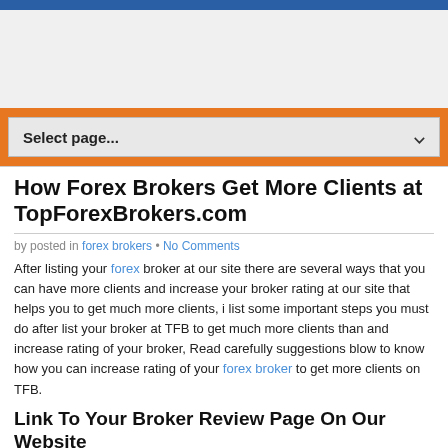[Figure (other): Navigation dropdown widget with orange background bar and 'Select page...' dropdown]
How Forex Brokers Get More Clients at TopForexBrokers.com
by posted in forex brokers • No Comments
After listing your forex broker at our site there are several ways that you can have more clients and increase your broker rating at our site that helps you to get much more clients, i list some important steps you must do after list your broker at TFB to get much more clients than and increase rating of your broker, Read carefully suggestions blow to know how you can increase rating of your forex broker to get more clients on TFB.
Link To Your Broker Review Page On Our Website
the first important step is to link from your Homepage to your broker page on TFB, this is the only important step that help %50 to increase